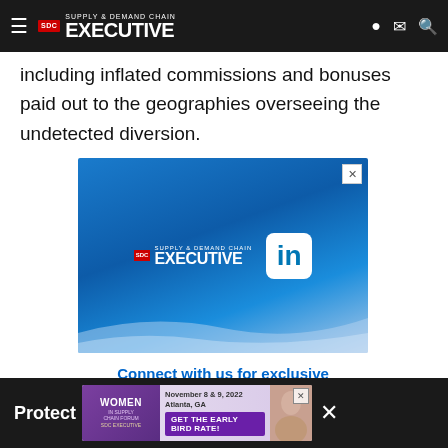Supply & Demand Chain Executive
including inflated commissions and bonuses paid out to the geographies overseeing the undetected diversion.
[Figure (advertisement): Supply & Demand Chain Executive LinkedIn advertisement banner with blue gradient background, SDC Executive logo, LinkedIn 'in' icon, and text 'Connect with us for exclusive news, trends and best practices']
Connect with us for exclusive news, trends and best practices
Protect | Women In Supply Chain Forum | November 8 & 9, 2022 Atlanta, GA | Get The Early Bird Rate! | Register